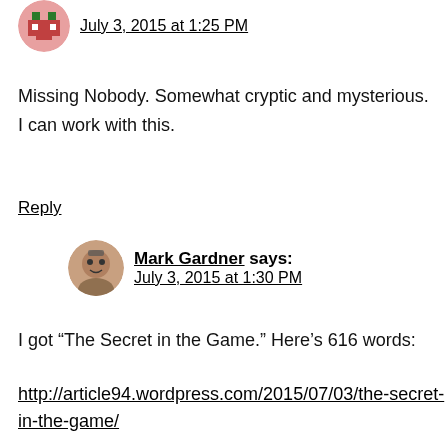[Figure (illustration): Circular avatar icon with green/red pixel art design]
July 3, 2015 at 1:25 PM
Missing Nobody. Somewhat cryptic and mysterious. I can work with this.
Reply
[Figure (photo): Circular avatar photo of Mark Gardner]
Mark Gardner says:
July 3, 2015 at 1:30 PM
I got “The Secret in the Game.” Here’s 616 words:
http://article94.wordpress.com/2015/07/03/the-secret-in-the-game/
Reply
Fred G. Yost says: